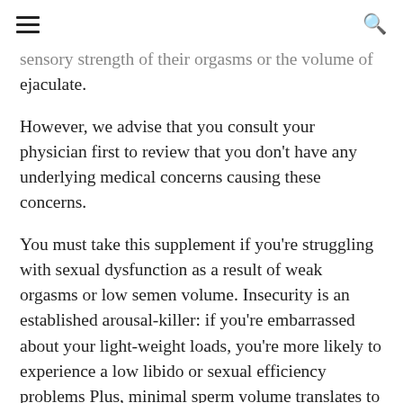≡  🔍
sensory strength of their orgasms or the volume of ejaculate.
However, we advise that you consult your physician first to review that you don't have any underlying medical concerns causing these concerns.
You must take this supplement if you're struggling with sexual dysfunction as a result of weak orgasms or low semen volume. Insecurity is an established arousal-killer: if you're embarrassed about your light-weight loads, you're more likely to experience a low libido or sexual efficiency problems Plus, minimal sperm volume translates to less contractions during